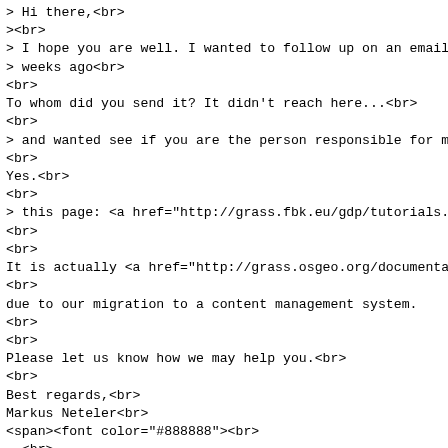> Hi there,<br>
><br>
> I hope you are well. I wanted to follow up on an email
> weeks ago<br>
<br>
To whom did you send it? It didn't reach here...<br>
<br>
> and wanted see if you are the person responsible for ma
<br>
Yes.<br>
<br>
> this page: <a href="http://grass.fbk.eu/gdp/tutorials.p
<br>
<br>
It is actually <a href="http://grass.osgeo.org/documentat
<br>
due to our migration to a content management system.
<br>
<br>
Please let us know how we may help you.<br>
<br>
Best regards,<br>
Markus Neteler<br>
<span><font color="#888888"><br>
--<br>
<a href="http://grass.osgeo.org" target="_blank">http://g
<br>
</font></span></blockquote></div><span></span><br>
</div></div></blockquote></div><br>